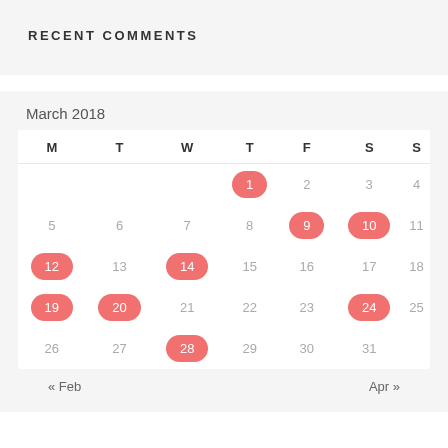RECENT COMMENTS
March 2018
| M | T | W | T | F | S | S |
| --- | --- | --- | --- | --- | --- | --- |
|  |  |  | 1 | 2 | 3 | 4 |
| 5 | 6 | 7 | 8 | 9 | 10 | 11 |
| 12 | 13 | 14 | 15 | 16 | 17 | 18 |
| 19 | 20 | 21 | 22 | 23 | 24 | 25 |
| 26 | 27 | 28 | 29 | 30 | 31 |  |
« Feb    Apr »